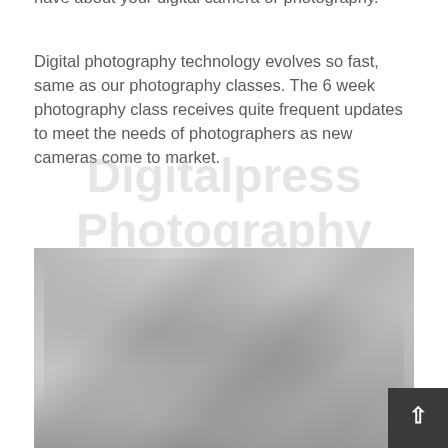have about your digital camera or photography.
Digital photography technology evolves so fast, same as our photography classes. The 6 week photography class receives quite frequent updates to meet the needs of photographers as new cameras come to market.
Digitalpress Photography Class
[Figure (photo): Partially visible photograph, appears dark and gray, showing some outdoor or nature scene, partially cut off at page bottom]